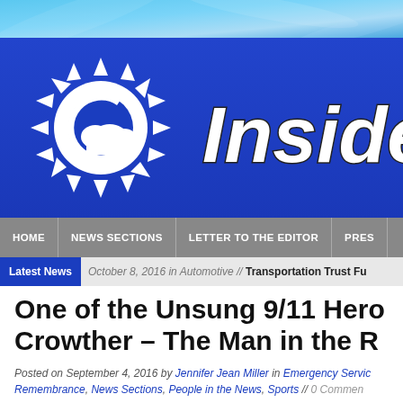[Figure (logo): Inside NJ newspaper logo — blue rectangle with sun/cloud icon on left and 'Inside' text in bold white italic on right]
HOME | NEWS SECTIONS | LETTER TO THE EDITOR | PRES...
Latest News | October 8, 2016 in Automotive // Transportation Trust Fu...
One of the Unsung 9/11 Hero... Crowther – The Man in the R...
Posted on September 4, 2016 by Jennifer Jean Miller in Emergency Servic... Remembrance, News Sections, People in the News, Sports // 0 Commen...